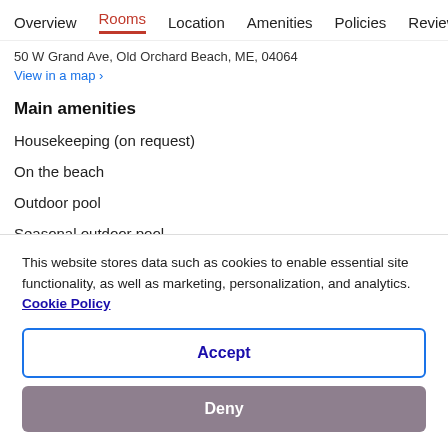Overview  Rooms  Location  Amenities  Policies  Reviews
50 W Grand Ave, Old Orchard Beach, ME, 04064
View in a map  ›
Main amenities
Housekeeping (on request)
On the beach
Outdoor pool
Seasonal outdoor pool
Air conditioning
Picnic area
This website stores data such as cookies to enable essential site functionality, as well as marketing, personalization, and analytics. Cookie Policy
Accept
Deny